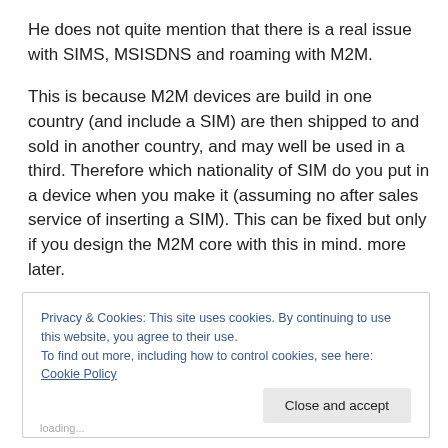He does not quite mention that there is a real issue with SIMS, MSISDNS and roaming with M2M.
This is because M2M devices are build in one country (and include a SIM) are then shipped to and sold in another country, and may well be used in a third. Therefore which nationality of SIM do you put in a device when you make it (assuming no after sales service of inserting a SIM). This can be fixed but only if you design the M2M core with this in mind. more later.
Privacy & Cookies: This site uses cookies. By continuing to use this website, you agree to their use. To find out more, including how to control cookies, see here: Cookie Policy
Close and accept
loading...